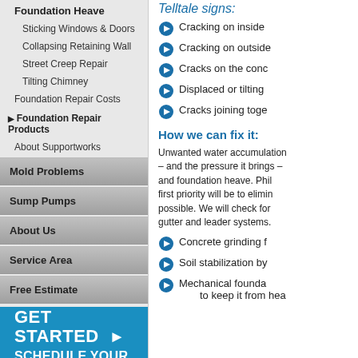Foundation Heave
Sticking Windows & Doors
Collapsing Retaining Wall
Street Creep Repair
Tilting Chimney
Foundation Repair Costs
Foundation Repair Products
About Supportworks
Mold Problems
Sump Pumps
About Us
Service Area
Free Estimate
[Figure (infographic): GET STARTED SCHEDULE YOUR FREE - blue CTA banner with arrow]
Telltale signs:
Cracking on inside
Cracking on outside
Cracks on the conc
Displaced or tilting
Cracks joining toge
How we can fix it:
Unwanted water accumulation – and the pressure it brings – and foundation heave. Phil first priority will be to elimin possible. We will check for gutter and leader systems.
Concrete grinding f
Soil stabilization by
Mechanical founda to keep it from hea